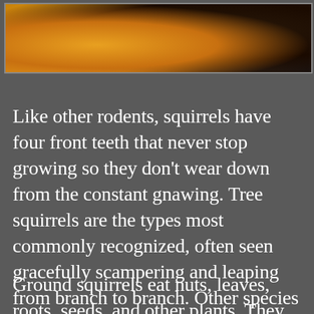[Figure (photo): Close-up photo of a squirrel, showing orange/golden fur on the left and dark bark or body texture on the right]
Like other rodents, squirrels have four front teeth that never stop growing so they don't wear down from the constant gnawing. Tree squirrels are the types most commonly recognized, often seen gracefully scampering and leaping from branch to branch. Other species are ground squirrels that live in burrow or tunnel systems, where some hibernate during the winter season.
Ground squirrels eat nuts, leaves, roots, seeds, and other plants. They also catch and